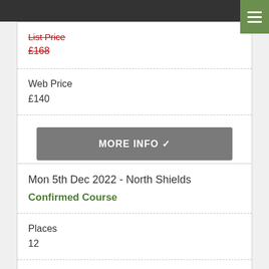List Price £168 (strikethrough)
Web Price £140
MORE INFO ✓
Mon 5th Dec 2022 - North Shields
Confirmed Course
Places 12
List Price £66 (strikethrough)
Web Price £55